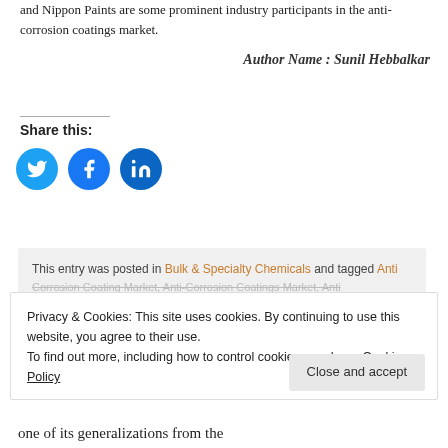and Nippon Paints are some prominent industry participants in the anti-corrosion coatings market.
Author Name : Sunil Hebbalkar
Share this:
[Figure (other): Three social media icon buttons: Twitter (blue bird), Facebook (blue f), LinkedIn (blue in)]
This entry was posted in Bulk & Specialty Chemicals and tagged Anti Corrosion Coating Market, Anti-Corrosion Coatings Market, Anti...
Privacy & Cookies: This site uses cookies. By continuing to use this website, you agree to their use.
To find out more, including how to control cookies, see here: Cookie Policy
Close and accept
one of its generalizations from the